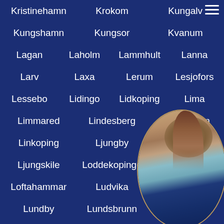Kristinehamn  Krokom  Kungalv
Kungshamn  Kungsor  Kvanum
Lagan  Laholm  Lammhult  Lanna
Larv  Laxa  Lerum  Lesjofors
Lessebo  Lidingo  Lidkoping  Lima
Limmared  Lindesberg  Lindholmen
Linkoping  Ljungby  Ljungbyhed
Ljungskile  Loddekopinge  Loderup
Loftahammar  Ludvika  Lulea
Lundby  Lundsbrunn  Ly...
Malilla  Malmo  Mantorp
[Figure (photo): Circular cropped photo of a woman in a light blue top and dark shorts, viewed from behind/side, positioned in bottom-right corner]